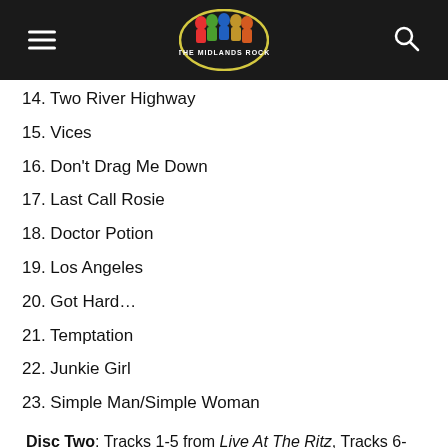The Midlands Rock
14. Two River Highway
15. Vices
16. Don't Drag Me Down
17. Last Call Rosie
18. Doctor Potion
19. Los Angeles
20. Got Hard…
21. Temptation
22. Junkie Girl
23. Simple Man/Simple Woman
Disc Two: Tracks 1-5 from Live At The Ritz, Tracks 6-17 from Madness & Magic
1. Gates Of Love